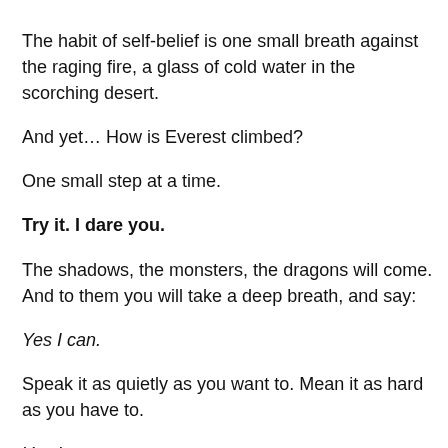The habit of self-belief is one small breath against the raging fire, a glass of cold water in the scorching desert.
And yet… How is Everest climbed?
One small step at a time.
Try it. I dare you.
The shadows, the monsters, the dragons will come. And to them you will take a deep breath, and say:
Yes I can.
Speak it as quietly as you want to. Mean it as hard as you have to.
Yes I can.